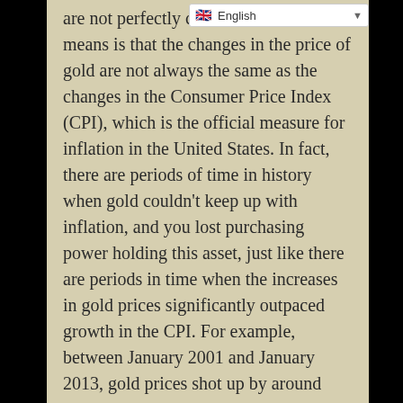are not perfectly correlated. What this means is that the changes in the price of gold are not always the same as the changes in the Consumer Price Index (CPI), which is the official measure for inflation in the United States. In fact, there are periods of time in history when gold couldn't keep up with inflation, and you lost purchasing power holding this asset, just like there are periods in time when the increases in gold prices significantly outpaced growth in the CPI. For example, between January 2001 and January 2013, gold prices shot up by around 350%, while the Consumer Price Index went up only by about 31%.
But let's take a look at a longer time period to really understand the